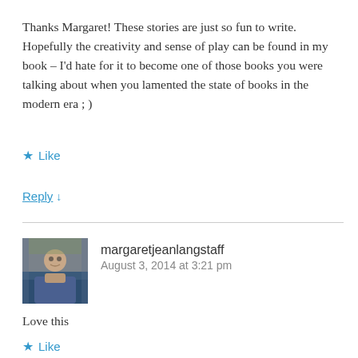Thanks Margaret! These stories are just so fun to write. Hopefully the creativity and sense of play can be found in my book – I'd hate for it to become one of those books you were talking about when you lamented the state of books in the modern era ; )
★ Like
Reply ↓
margaretjeanlangstaff
August 3, 2014 at 3:21 pm
Love this
★ Like